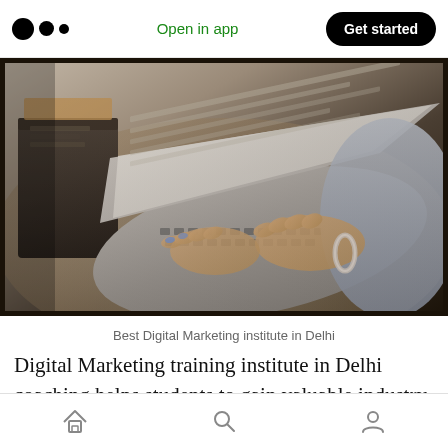Medium logo | Open in app | Get started
[Figure (photo): Person typing on a laptop keyboard, viewed from above at an angle. The person appears to be wearing a grey top and a beaded bracelet. A side table with items is visible to the left.]
Best Digital Marketing institute in Delhi
Digital Marketing training institute in Delhi coaching helps students to gain valuable industry experience. Therefore, the Best Digital Marketing training in Delhi is followed by
Home | Search | Profile